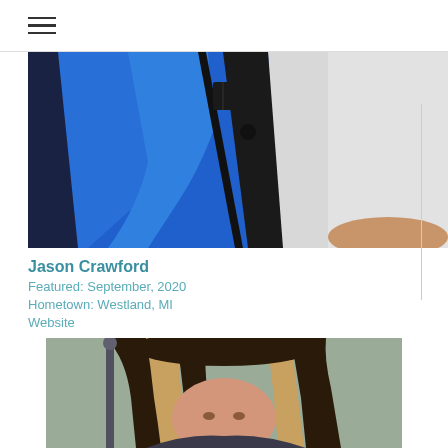≡
[Figure (photo): Person wearing a blue North Face zip-up athletic jacket, photographed from the chest down, with a blurred light background]
Jason Crawford
Featured: September, 2020
Hometown: Westland, MI
Website
[Figure (photo): Woman with long dark brown and blonde highlighted hair, photographed from the shoulders up, with an outdoor background]